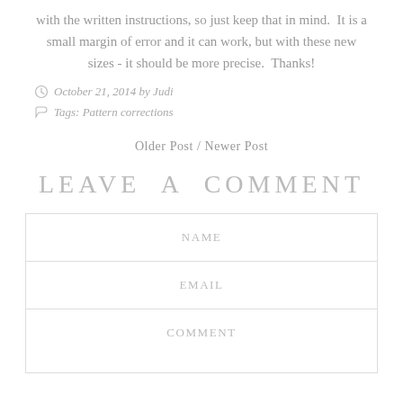with the written instructions, so just keep that in mind.  It is a small margin of error and it can work, but with these new sizes - it should be more precise.  Thanks!
October 21, 2014 by Judi
Tags: Pattern corrections
Older Post / Newer Post
LEAVE A COMMENT
| NAME | EMAIL | COMMENT |
| --- | --- | --- |